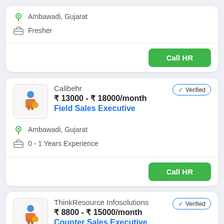Ambawadi, Gujarat
Fresher
Call HR
Calibehr
Verified
₹ 13000 - ₹ 18000/month
Field Sales Executive
Ambawadi, Gujarat
0 - 1 Years Experience
Call HR
ThinkResource Infosolutions
Verified
₹ 8800 - ₹ 15000/month
Counter Sales Executive